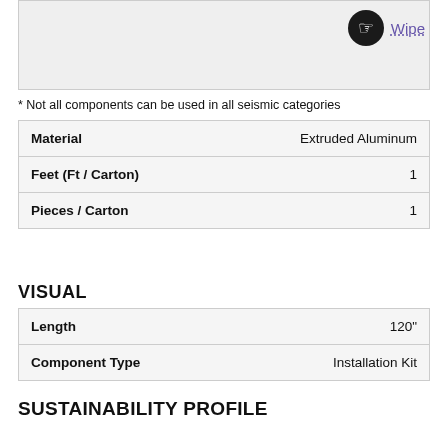[Figure (illustration): Top image area showing product with Wipe icon and label in top right corner]
* Not all components can be used in all seismic categories
| Material | Extruded Aluminum |
| Feet (Ft / Carton) | 1 |
| Pieces / Carton | 1 |
VISUAL
| Length | 120" |
| Component Type | Installation Kit |
SUSTAINABILITY PROFILE